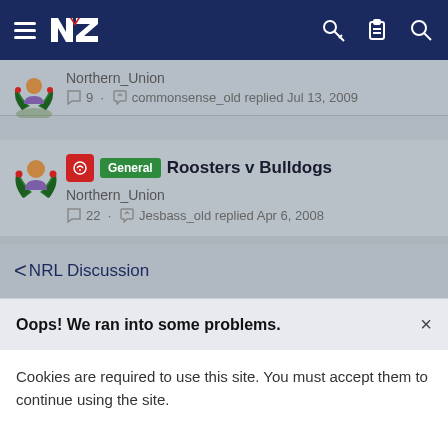[Figure (screenshot): Dark navy navigation bar with hamburger menu, NZ Warriors logo, key icon, clipboard icon, and search icon]
Northern_Union
9 · commonsense_old replied Jul 13, 2009
General  Roosters v Bulldogs
Northern_Union
22 · Jesbass_old replied Apr 6, 2008
< NRL Discussion
Oops! We ran into some problems.  ×
Cookies are required to use this site. You must accept them to continue using the site.